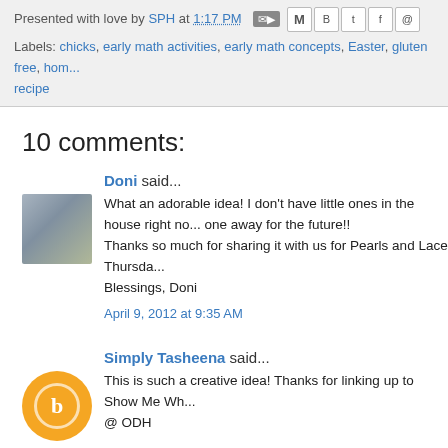Presented with love by SPH at 1:17 PM
Labels: chicks, early math activities, early math concepts, Easter, gluten free, hom... recipe
10 comments:
Doni said...
What an adorable idea! I don't have little ones in the house right no... one away for the future!! Thanks so much for sharing it with us for Pearls and Lace Thursda... Blessings, Doni
April 9, 2012 at 9:35 AM
Simply Tasheena said...
This is such a creative idea! Thanks for linking up to Show Me Wh... @ ODH

Mrs. Delightful
www.ourdelightfulhome.blogspot.com
April 9, 2012 at 7:36 PM